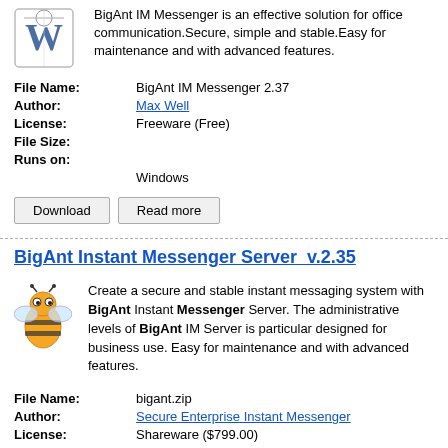BigAnt IM Messenger is an effective solution for office communication.Secure, simple and stable.Easy for maintenance and with advanced features.
| File Name: | BigAnt IM Messenger 2.37 |
| Author: | Max Well |
| License: | Freeware (Free) |
| File Size: |  |
| Runs on: | Windows |
Download   Read more
BigAnt Instant Messenger Server  v.2.35
Create a secure and stable instant messaging system with BigAnt Instant Messenger Server. The administrative levels of BigAnt IM Server is particular designed for business use. Easy for maintenance and with advanced features.
| File Name: | bigant.zip |
| Author: | Secure Enterprise Instant Messenger |
| License: | Shareware ($799.00) |
| File Size: | 7.12 Mb |
| Runs on: | Windows2000, WinXP, Windows2003 |